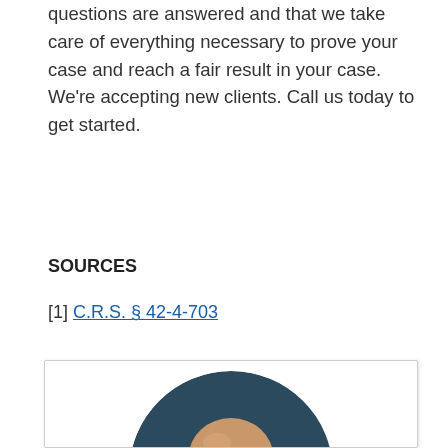questions are answered and that we take care of everything necessary to prove your case and reach a fair result in your case. We're accepting new clients. Call us today to get started.
SOURCES
[1] C.R.S. § 42-4-703
[Figure (photo): Circular headshot photo of a bald, smiling man in a white card/box with a light border]